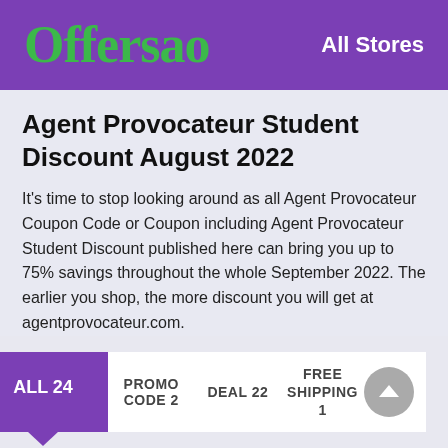Offersao   All Stores
Agent Provocateur Student Discount August 2022
It's time to stop looking around as all Agent Provocateur Coupon Code or Coupon including Agent Provocateur Student Discount published here can bring you up to 75% savings throughout the whole September 2022. The earlier you shop, the more discount you will get at agentprovocateur.com.
ALL 24   PROMO CODE 2   DEAL 22   FREE SHIPPING 1